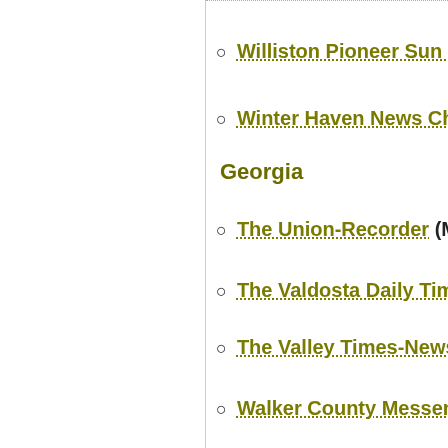Williston Pioneer Sun News
Winter Haven News Chief
Georgia
The Union-Recorder (Mille…
The Valdosta Daily Times
The Valley Times-News (L…
Walker County Messenger
The Walton Tribune (Mon…
Waycross Journal-Herald…